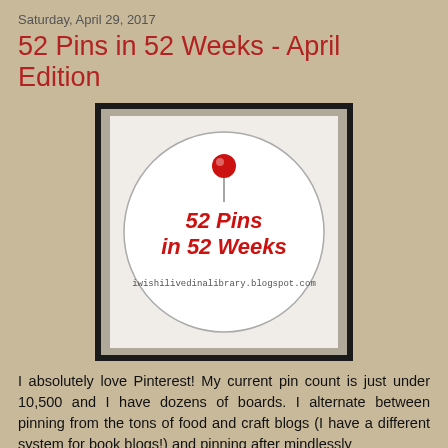Saturday, April 29, 2017
52 Pins in 52 Weeks - April Edition
[Figure (logo): Circular badge logo with a red pushpin at the top, bold red italic text '52 Pins in 52 Weeks' in the center, and the URL 'iwishilivedinalibrary.blogspot.com' below. The circle is on a light beige square with a thick black border.]
I absolutely love Pinterest! My current pin count is just under 10,500 and I have dozens of boards. I alternate between pinning from the tons of food and craft blogs (I have a different system for book blogs!) and pinning after mindlessly